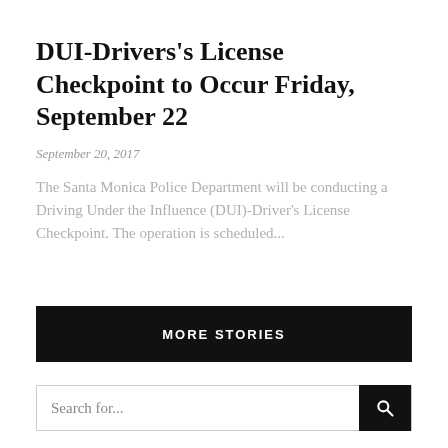DUI-Drivers's License Checkpoint to Occur Friday, September 22
September 20, 2017
The Santa Monica Police Department will be conducting a Driving Under the Influence (DUI)-Driver's License Checkpoint. The operation is scheduled...
MORE STORIES
Search for...